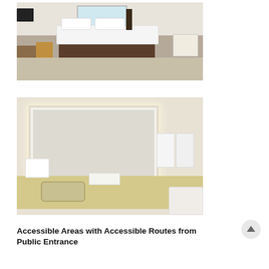[Figure (photo): Hotel bedroom with king bed, white bedding, wood platform bed frame, desk with lamp, gold chair, TV on wall, window with sheer curtains, hardwood-style floor]
[Figure (photo): Hotel bathroom with illuminated vanity mirror, long countertop with sink, towels, toiletries, white folded towels on towel bar, toilet partially visible on right]
Accessible Areas with Accessible Routes from Public Entrance